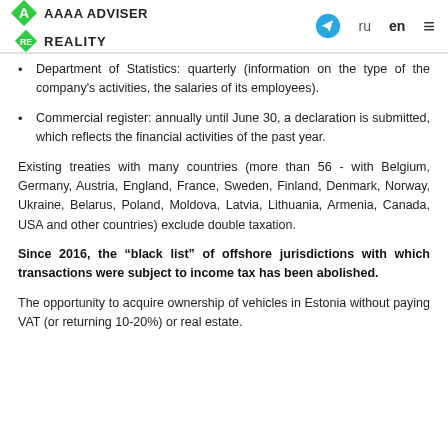AAAA ADVISER REALITY
Department of Statistics: quarterly (information on the type of the company's activities, the salaries of its employees).
Commercial register: annually until June 30, a declaration is submitted, which reflects the financial activities of the past year.
Existing treaties with many countries (more than 56 - with Belgium, Germany, Austria, England, France, Sweden, Finland, Denmark, Norway, Ukraine, Belarus, Poland, Moldova, Latvia, Lithuania, Armenia, Canada, USA and other countries) exclude double taxation.
Since 2016, the “black list” of offshore jurisdictions with which transactions were subject to income tax has been abolished.
The opportunity to acquire ownership of vehicles in Estonia without paying VAT (or returning 10-20%) or real estate.